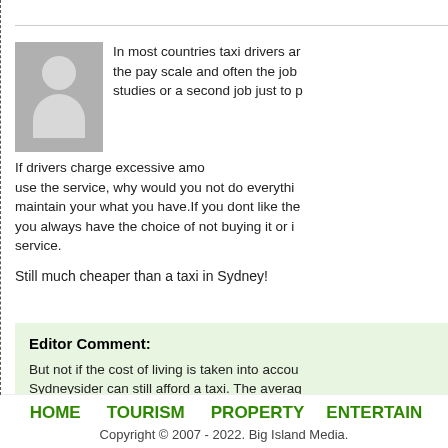Posted by Hans o
In most countries taxi drivers ar... the pay scale and often the job... studies or a second job just to p...
If drivers charge excessive amo... use the service, why would you not do everythi... maintain your what you have.If you dont like the... you always have the choice of not buying it or i... service.
Still much cheaper than a taxi in Sydney!
Posted by Manowar o
Editor Comment:
But not if the cost of living is taken into accou... Sydneysider can still afford a taxi. The averag... cannot.
HOME   TOURISM   PROPERTY   ENTERTAIN
Copyright © 2007 - 2022. Big Island Media.